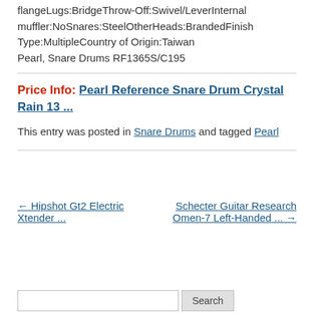flangeLugs:BridgeThrow-Off:Swivel/LeverInternal muffler:NoSnares:SteelOtherHeads:BrandedFinish Type:MultipleCountry of Origin:Taiwan Pearl, Snare Drums RF1365S/C195
Price Info: Pearl Reference Snare Drum Crystal Rain 13 ...
This entry was posted in Snare Drums and tagged Pearl
← Hipshot Gt2 Electric Xtender ...
Schecter Guitar Research Omen-7 Left-Handed ... →